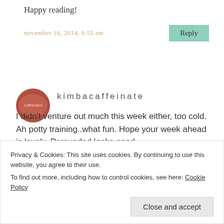Happy reading!
november 16, 2014, 6:55 am
Reply
[Figure (illustration): Round avatar image showing a red/brown circular shape with 'Caffeinated' text on it]
kimbacaffeinate
I didn't venture out much this week either, too cold. Ah potty training..what fun. Hope your week ahead is lovely. Persuaded looks good.
Privacy & Cookies: This site uses cookies. By continuing to use this website, you agree to their use.
To find out more, including how to control cookies, see here: Cookie Policy
Close and accept